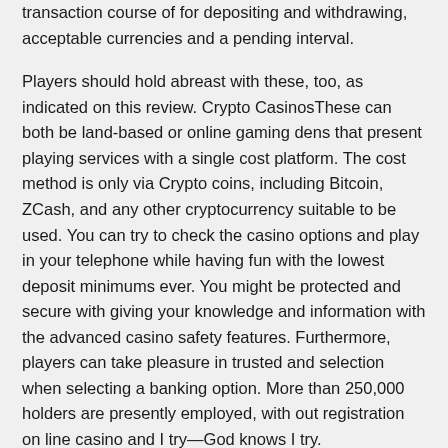transaction course of for depositing and withdrawing, acceptable currencies and a pending interval.
Players should hold abreast with these, too, as indicated on this review. Crypto CasinosThese can both be land-based or online gaming dens that present playing services with a single cost platform. The cost method is only via Crypto coins, including Bitcoin, ZCash, and any other cryptocurrency suitable to be used. You can try to check the casino options and play in your telephone while having fun with the lowest deposit minimums ever. You might be protected and secure with giving your knowledge and information with the advanced casino safety features. Furthermore, players can take pleasure in trusted and selection when selecting a banking option. More than 250,000 holders are presently employed, with out registration on line casino and I try—God knows I try.
No two casinos on-line supply Western Australia rooms which are created equal, so do your homework first. Better still, do yourself a favour and trust our leading